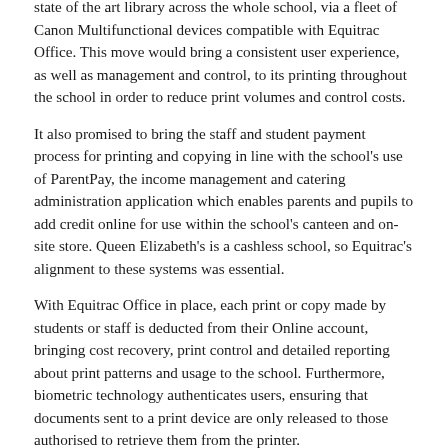state of the art library across the whole school, via a fleet of Canon Multifunctional devices compatible with Equitrac Office. This move would bring a consistent user experience, as well as management and control, to its printing throughout the school in order to reduce print volumes and control costs.
It also promised to bring the staff and student payment process for printing and copying in line with the school's use of ParentPay, the income management and catering administration application which enables parents and pupils to add credit online for use within the school's canteen and on-site store. Queen Elizabeth's is a cashless school, so Equitrac's alignment to these systems was essential.
With Equitrac Office in place, each print or copy made by students or staff is deducted from their Online account, bringing cost recovery, print control and detailed reporting about print patterns and usage to the school. Furthermore, biometric technology authenticates users, ensuring that documents sent to a print device are only released to those authorised to retrieve them from the printer.
Not only does this ensure maximum security with confidential documents that can no longer be retrieved accidentally from a